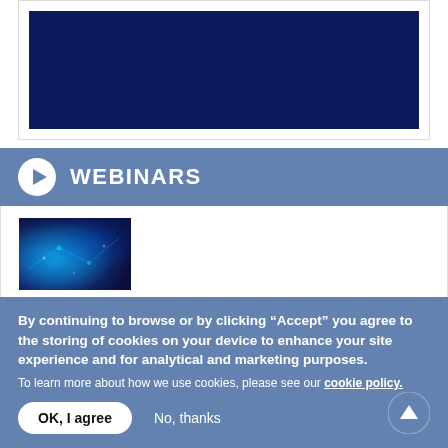[Figure (other): Dark navy blue rectangle, partially visible at top of page inside a white card with border]
WEBINARS
[Figure (photo): Thumbnail image of a technology/AI themed photo with blue circuit-like elements and glowing lights]
WEBINAR: Building the Bridge - How Imaging AI is
By continuing to browse or by clicking “Accept” you agree to the storing of cookies on your device to enhance your site experience and for analytical and marketing purposes.
To learn more about how we use cookies, please see our cookie policy.
OK, I agree
No, thanks